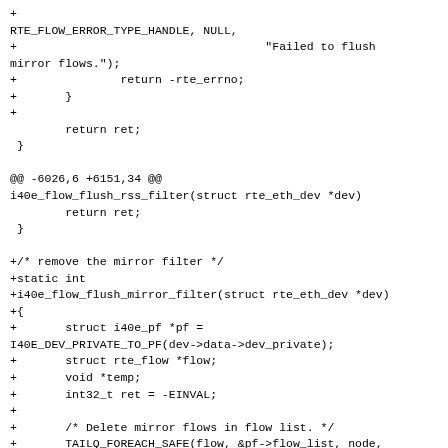+
RTE_FLOW_ERROR_TYPE_HANDLE, NULL,
+                                    "Failed to flush mirror flows.");
+               return -rte_errno;
+       }
+
        return ret;
 }

@@ -6026,6 +6151,34 @@
i40e_flow_flush_rss_filter(struct rte_eth_dev *dev)
        return ret;
 }

+/* remove the mirror filter */
+static int
+i40e_flow_flush_mirror_filter(struct rte_eth_dev *dev)
+{
+       struct i40e_pf *pf =
I40E_DEV_PRIVATE_TO_PF(dev->data->dev_private);
+       struct rte_flow *flow;
+       void *temp;
+       int32_t ret = -EINVAL;
+
+       /* Delete mirror flows in flow list. */
+       TAILQ_FOREACH_SAFE(flow, &pf->flow_list, node, temp) {
+               struct i40e_mirror_filter *rule = flow->rule;